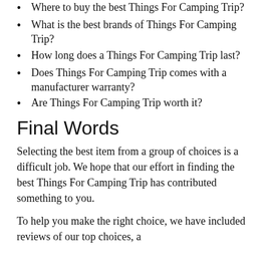Where to buy the best Things For Camping Trip?
What is the best brands of Things For Camping Trip?
How long does a Things For Camping Trip last?
Does Things For Camping Trip comes with a manufacturer warranty?
Are Things For Camping Trip worth it?
Final Words
Selecting the best item from a group of choices is a difficult job. We hope that our effort in finding the best Things For Camping Trip has contributed something to you.
To help you make the right choice, we have included reviews of our top choices, a